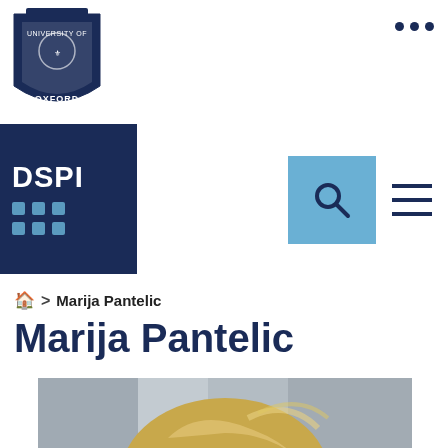[Figure (logo): University of Oxford crest/shield logo in dark navy blue]
[Figure (logo): DSPI logo - dark navy background with DSPI text and grid of blue dots]
[Figure (other): Search button (magnifying glass icon) on light blue background and hamburger menu icon]
⌂ > Marija Pantelic
Marija Pantelic
[Figure (photo): Portrait photograph of Marija Pantelic, a woman with blonde hair, looking directly at camera, blurred architectural background]